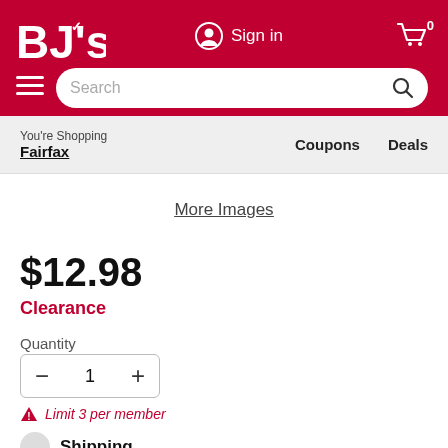BJ's Wholesale Club - Sign in - Cart (0) - Search bar - You're Shopping Fairfax - Coupons - Deals
More Images
$12.98
Clearance
Quantity
1
Limit 3 per member
Shipping